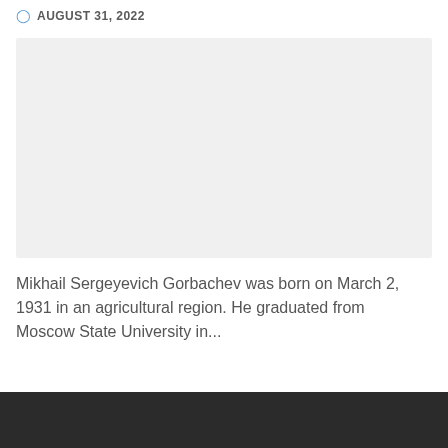AUGUST 31, 2022
[Figure (photo): Light gray rectangular placeholder image area]
Mikhail Sergeyevich Gorbachev was born on March 2, 1931 in an agricultural region. He graduated from Moscow State University in...